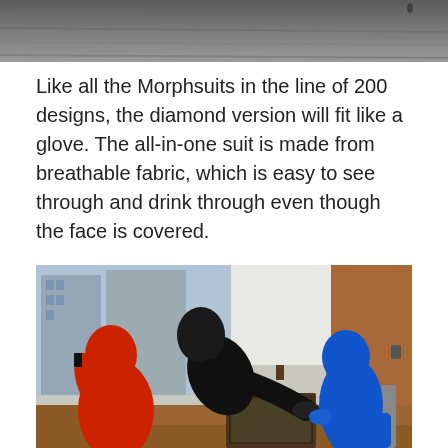[Figure (photo): Partial view of a grayscale outdoor scene, appears to show water or a road surface from above]
Like all the Morphsuits in the line of 200 designs, the diamond version will fit like a glove. The all-in-one suit is made from breathable fabric, which is easy to see through and drink through even though the face is covered.
[Figure (photo): Three people wearing full-body Morphsuits (one red, one black, one blue) in an office setting, with the black-suited person leaning over a laptop on a desk]